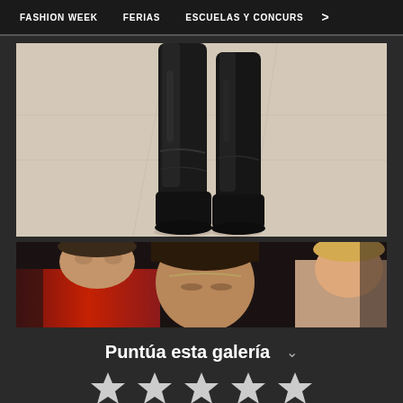FASHION WEEK   FERIAS   ESCUELAS Y CONCURS   >
[Figure (photo): Close-up of black leather boots on a runway catwalk, light beige floor]
[Figure (photo): Fashion show models with faces visible, dark background, red and floral clothing]
Puntúa esta galería
[Figure (other): Five white/grey star rating icons in a row]